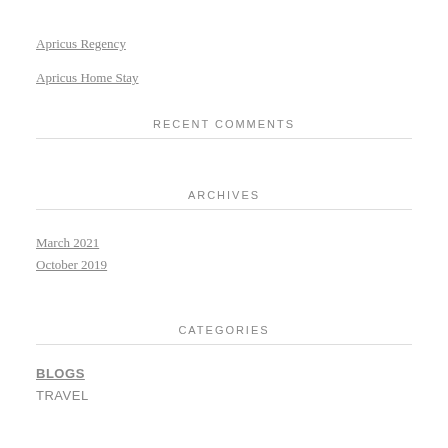Apricus Regency
Apricus Home Stay
RECENT COMMENTS
ARCHIVES
March 2021
October 2019
CATEGORIES
BLOGS
TRAVEL